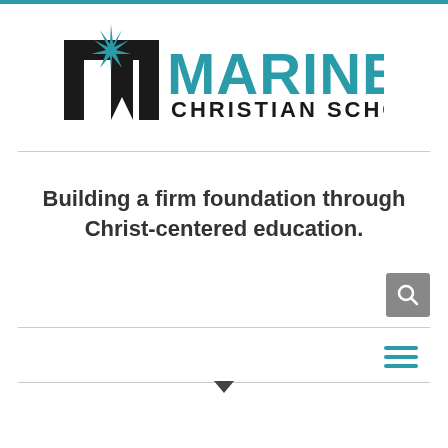[Figure (logo): Mariners Christian School logo — large black stylized M with a teal compass star on top, followed by teal text 'MARINERS' in large letters and 'CHRISTIAN SCHOOL' in smaller black letters below]
Building a firm foundation through Christ-centered education.
[Figure (other): Search icon button — gray square with white magnifying glass icon]
[Figure (other): Hamburger menu icon — three teal horizontal lines]